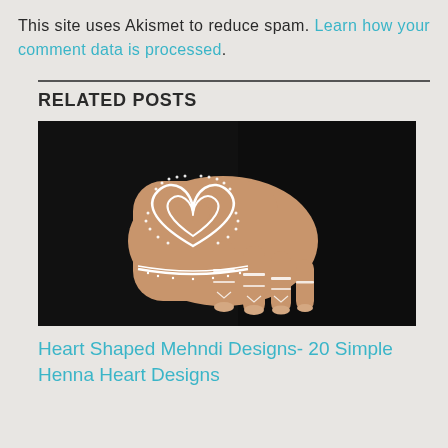This site uses Akismet to reduce spam. Learn how your comment data is processed.
RELATED POSTS
[Figure (photo): A hand with white henna mehndi design featuring a heart shape on the back of the hand, with intricate lace-like patterns, against a dark background.]
Heart Shaped Mehndi Designs- 20 Simple Henna Heart Designs